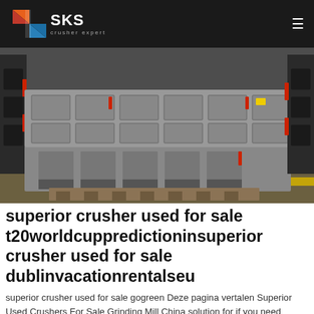SKS crusher expert
[Figure (photo): Industrial crusher machinery in a factory setting, grey metal equipment with red components and bolts, arranged in a row on a warehouse floor with yellow striped markings]
superior crusher used for sale t20worldcuppredictioninsuperior crusher used for sale dublinvacationrentalseu
superior crusher used for sale gogreen Deze pagina vertalen Superior Used Crushers For Sale Grinding Mill China solution for if you need more information about used